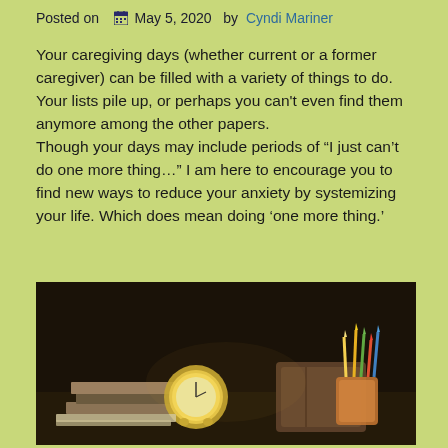Posted on  May 5, 2020  by  Cyndi Mariner
Your caregiving days (whether current or a former caregiver) can be filled with a variety of things to do. Your lists pile up, or perhaps you can’t even find them anymore among the other papers. Though your days may include periods of “I just can’t do one more thing…” I am here to encourage you to find new ways to reduce your anxiety by systemizing your life. Which does mean doing ‘one more thing.’
[Figure (photo): A still-life photograph of a desk with a small gold analog clock, stacked books and notebooks, and a cup/holder containing colored pencils and pens, set against a dark brown background.]